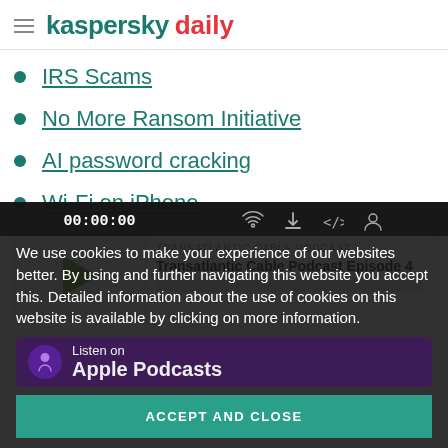kaspersky daily
IRS Scams
No More Ransom Initiative
AI password cracking
Wi-Fi on iPhone
[Figure (other): Podcast player card with play button, label 'TRANSATLANTIC CABLE PODCAST', title 'Transatlantic Cable Podcast Episode 4', and a progress bar]
We use cookies to make your experience of our websites better. By using and further navigating this website you accept this. Detailed information about the use of cookies on this website is available by clicking on more information.
Listen on Apple Podcasts
ACCEPT AND CLOSE